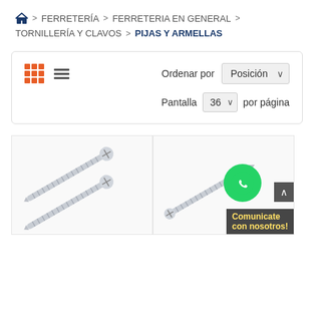🏠 > FERRETERÍA > FERRETERIA EN GENERAL > TORNILLERÍA Y CLAVOS > PIJAS Y ARMELLAS
Ordenar por Posición | Pantalla 36 por página
[Figure (photo): Two product images: left shows two metal pan-head screws on white background; right shows a metal screw partially obscured by a WhatsApp contact button with text 'Comunicate con nosotros!']